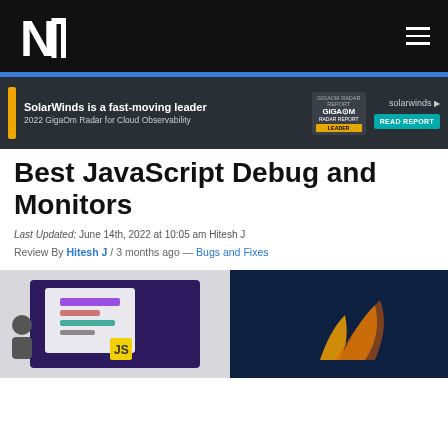N1 logo and navigation header
[Figure (screenshot): SolarWinds advertisement banner: 'SolarWinds is a fast-moving leader', '2022 GigaOm Radar for Cloud Observability', GigaOm Radar Report Leader badge, SolarWinds logo, READ REPORT button]
Best JavaScript Debug and Monitors
Last Updated: June 14th, 2022 at 10:05 am Hitesh J
Review By Hitesh J / 3 months ago — Bugs and Fixes
[Figure (photo): Article hero image showing JavaScript debugging tools illustration with a person, phone/tablet UI, and JavaScript logo on dark blue background with flame/swoosh graphic]